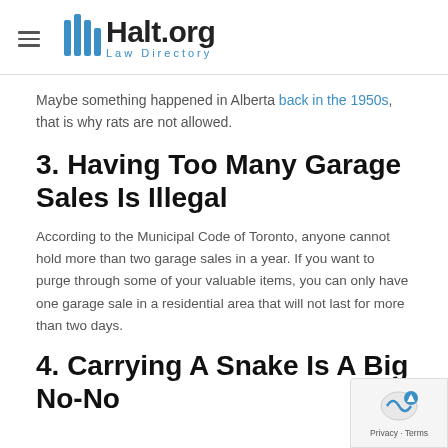Halt.org Law Directory
Maybe something happened in Alberta back in the 1950s, that is why rats are not allowed.
3. Having Too Many Garage Sales Is Illegal
According to the Municipal Code of Toronto, anyone cannot hold more than two garage sales in a year. If you want to purge through some of your valuable items, you can only have one garage sale in a residential area that will not last for more than two days.
4. Carrying A Snake Is A Big No-No